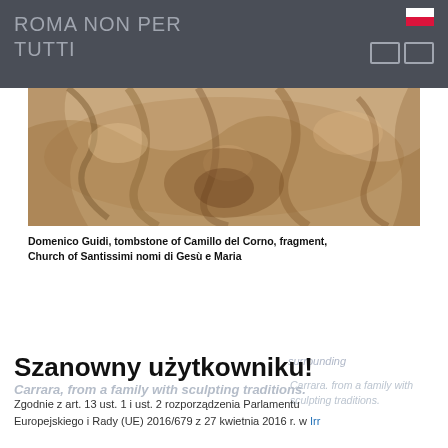ROMA NON PER TUTTI
[Figure (photo): Close-up photograph of a marble sculpture fragment showing draped figures, Domenico Guidi's tombstone of Camillo del Corno, warm tan and brown tones]
Domenico Guidi, tombstone of Camillo del Corno, fragment, Church of Santissimi nomi di Gesù e Maria
Szanowny użytkowniku!
Zgodnie z art. 13 ust. 1 i ust. 2 rozporządzenia Parlamentu Europejskiego i Rady (UE) 2016/679 z 27 kwietnia 2016 r. w